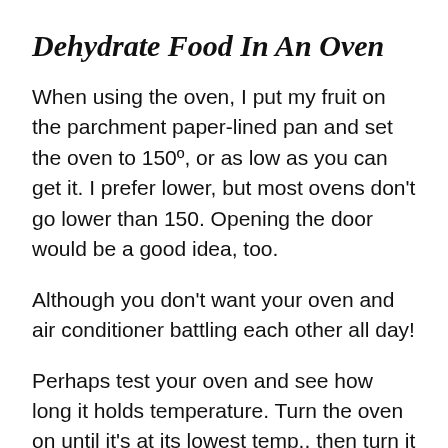Dehydrate Food In An Oven
When using the oven, I put my fruit on the parchment paper-lined pan and set the oven to 150º, or as low as you can get it. I prefer lower, but most ovens don't go lower than 150. Opening the door would be a good idea, too.
Although you don't want your oven and air conditioner battling each other all day!
Perhaps test your oven and see how long it holds temperature. Turn the oven on until it's at its lowest temp., then turn it off, letting it rest closed until it reaches below 100 degrees.
Once you've figured out the time needed for this